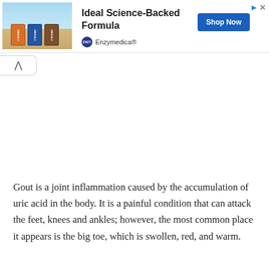[Figure (other): Advertisement banner for Enzymedica Omega-3 supplement showing product boxes against a beach background, with 'Ideal Science-Backed Formula' headline, Shop Now button, and Enzymedica brand logo]
Gout is a joint inflammation caused by the accumulation of uric acid in the body. It is a painful condition that can attack the feet, knees and ankles; however, the most common place it appears is the big toe, which is swollen, red, and warm.